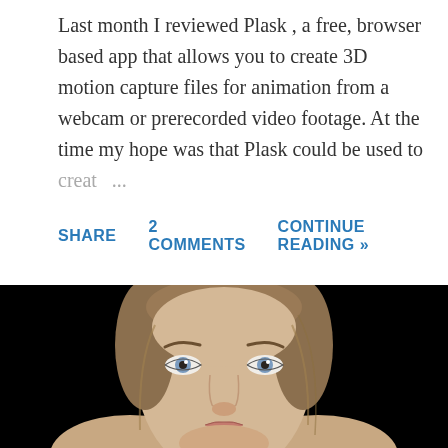Last month I reviewed Plask , a free, browser based app that allows you to create 3D motion capture files for animation from a webcam or prerecorded video footage. At the time my hope was that Plask could be used to creat ...
SHARE   2 COMMENTS   CONTINUE READING »
[Figure (photo): Close-up front-facing portrait photo of a young woman with light brown hair pulled back, blue-gray eyes, against a black background. The image is cropped at mid-face level showing forehead, eyes, nose, and chin area.]